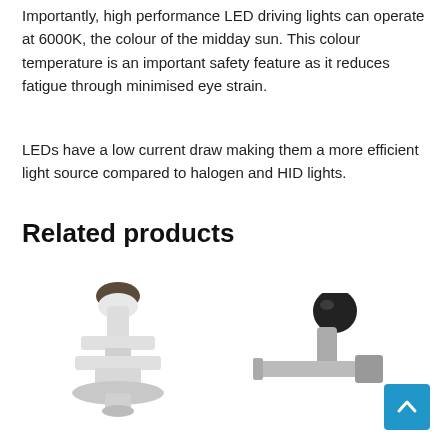Importantly, high performance LED driving lights can operate at 6000K, the colour of the midday sun. This colour temperature is an important safety feature as it reduces fatigue through minimised eye strain.
LEDs have a low current draw making them a more efficient light source compared to halogen and HID lights.
Related products
[Figure (photo): White plastic adjustable mounting bracket/clip product photo]
[Figure (photo): Grey/black adjustable mounting bracket/clip product photo]